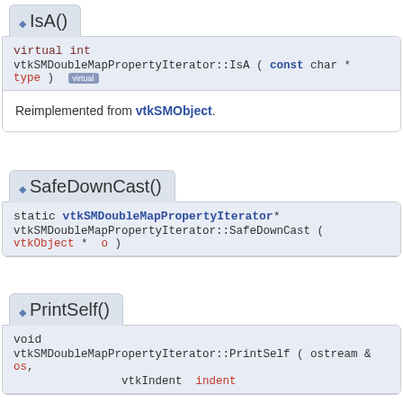IsA()
virtual int
vtkSMDoubleMapPropertyIterator::IsA ( const char * type ) [virtual]
Reimplemented from vtkSMObject.
SafeDownCast()
static vtkSMDoubleMapPropertyIterator*
vtkSMDoubleMapPropertyIterator::SafeDownCast ( vtkObject * o )
PrintSelf()
void
vtkSMDoubleMapPropertyIterator::PrintSelf ( ostream & os,
vtkIndent indent